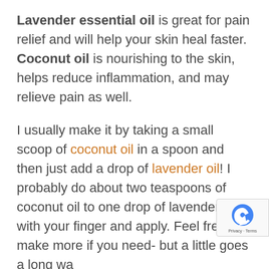Lavender essential oil is great for pain relief and will help your skin heal faster. Coconut oil is nourishing to the skin, helps reduce inflammation, and may relieve pain as well.
I usually make it by taking a small scoop of coconut oil in a spoon and then just add a drop of lavender oil! I probably do about two teaspoons of coconut oil to one drop of lavender. Mix with your finger and apply. Feel free to make more if you need- but a little goes a long way.
And if you have a headache from the